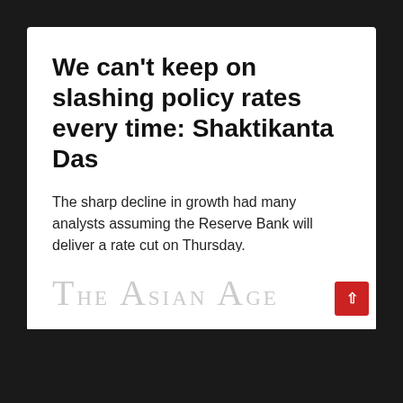We can't keep on slashing policy rates every time: Shaktikanta Das
The sharp decline in growth had many analysts assuming the Reserve Bank will deliver a rate cut on Thursday.
05 Dec 2019 1:34 PM
[Figure (logo): The Asian Age newspaper logo in light gray with a red scroll-up button]